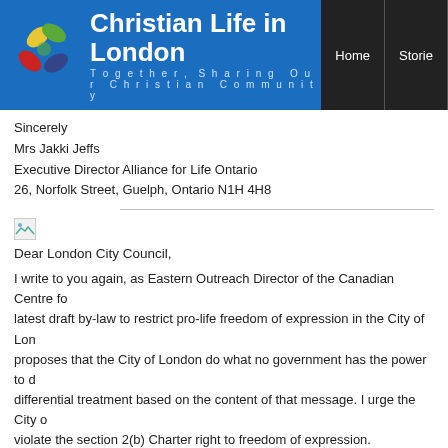Christian Life in London — Together, Sharing Our Christian Community | Home | Stories
Sincerely
Mrs Jakki Jeffs
Executive Director Alliance for Life Ontario
26, Norfolk Street, Guelph, Ontario N1H 4H8
Dear London City Council,
I write to you again, as Eastern Outreach Director of the Canadian Centre for latest draft by-law to restrict pro-life freedom of expression in the City of Lon proposes that the City of London do what no government has the power to d differential treatment based on the content of that message. I urge the City o violate the section 2(b) Charter right to freedom of expression.
The Supreme Court of Canada in Irwin Toy Ltd. v. Quebec (Attorney General protects all non-violent expressive activity — that is, any activity or communi meaning — without discrimination based on content, however unpopular, dis
Freedom of expression is a broad right, including the right to communicate co